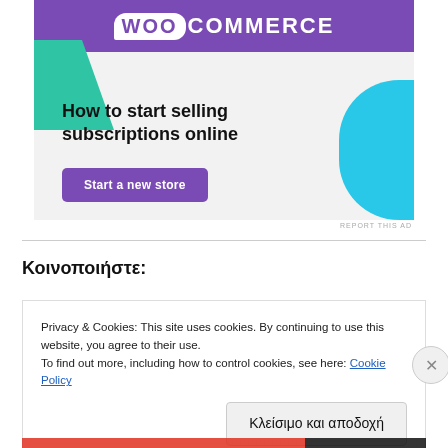[Figure (advertisement): WooCommerce ad banner with purple header, green triangle shape, cyan shape, bold text 'How to start selling subscriptions online', and a purple 'Start a new store' button]
REPORT THIS AD
Κοινοποιήστε:
Privacy & Cookies: This site uses cookies. By continuing to use this website, you agree to their use.
To find out more, including how to control cookies, see here: Cookie Policy
Κλείσιμο και αποδοχή